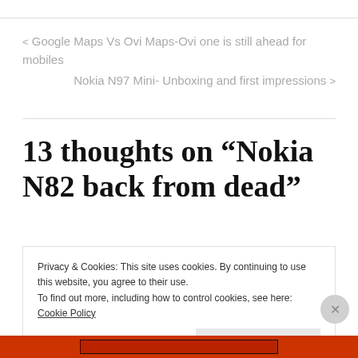< Google Maps Vs Ovi Maps-Ovi one is still ahead for mobiles
Nokia N97 Mini- Unboxing and first impressions >
13 thoughts on “Nokia N82 back from dead”
Privacy & Cookies: This site uses cookies. By continuing to use this website, you agree to their use.
To find out more, including how to control cookies, see here: Cookie Policy